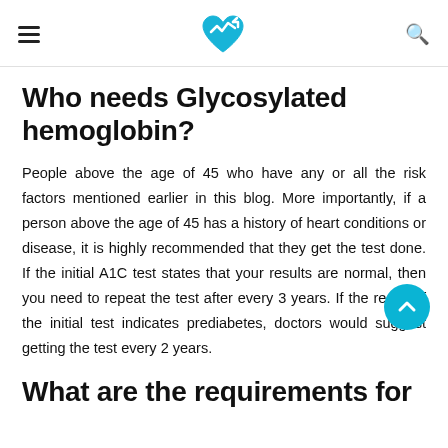navigation bar with hamburger menu, heart-rate logo, and search icon
Who needs Glycosylated hemoglobin?
People above the age of 45 who have any or all the risk factors mentioned earlier in this blog. More importantly, if a person above the age of 45 has a history of heart conditions or disease, it is highly recommended that they get the test done. If the initial A1C test states that your results are normal, then you need to repeat the test after every 3 years. If the result of the initial test indicates prediabetes, doctors would suggest getting the test every 2 years.
What are the requirements for